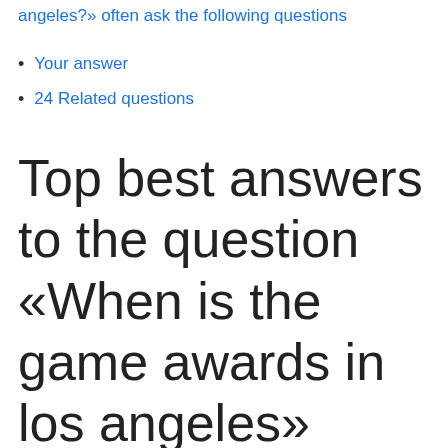angeles?» often ask the following questions
Your answer
24 Related questions
Top best answers to the question «When is the game awards in los angeles»